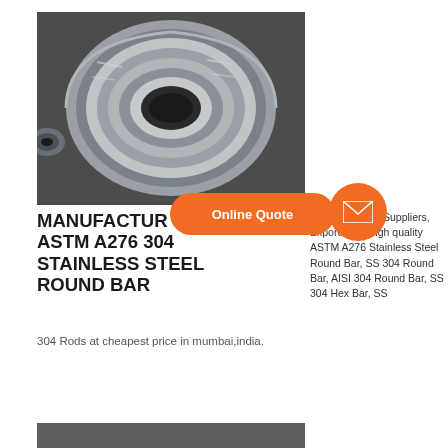[Figure (photo): A large coil/roll of stainless steel sheet metal, wrapped in industrial packaging, viewed from the front showing the circular coil shape. Dark industrial background.]
MANUFACTURER ASTM A276 304 STAINLESS STEEL ROUND BAR
manufacturers, Suppliers, Exporters of high quality ASTM A276 304 Stainless Steel Round Bar, SS 304 Round Bar, AISI 304 Round Bar, SS 304 Hex Bar, SS 304 Rods at cheapest price in mumbai,india.
READ MORE
[Figure (screenshot): Online Quote button (orange pill shape with arrow) and orange email/mail circle icon overlay on the product listing.]
[Figure (photo): Partial view of another stainless steel product at the bottom of the page.]